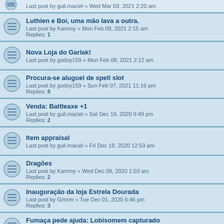Last post by guil.maciel « Wed Mar 03, 2021 2:20 am
Luthien e Boi, uma mão lava a outra.
Last post by Kammy « Mon Feb 08, 2021 2:15 am
Replies: 1
Nova Loja do Garlak!
Last post by godoy159 « Mon Feb 08, 2021 2:12 am
Procura-se aluguel de spell slot
Last post by godoy159 « Sun Feb 07, 2021 11:16 pm
Replies: 8
Venda: Battleaxe +1
Last post by guil.maciel « Sat Dec 19, 2020 9:49 pm
Replies: 2
Item appraisal
Last post by guil.maciel « Fri Dec 18, 2020 12:53 am
Dragões
Last post by Kammy « Wed Dec 09, 2020 1:03 am
Replies: 2
Inauguração da loja Estrela Dourada
Last post by Grimm « Tue Dec 01, 2020 6:46 pm
Replies: 3
Fumaça pede ajuda: Lobisomem capturado
Last post by Kammy « Sat Oct 31, 2020 2:45 am
Replies: 2
Caçadora e Argok: Cinturão do Horizonte
Last post by davidossantos « Mon Oct 19, 2020 11:10 pm
Replies: 1